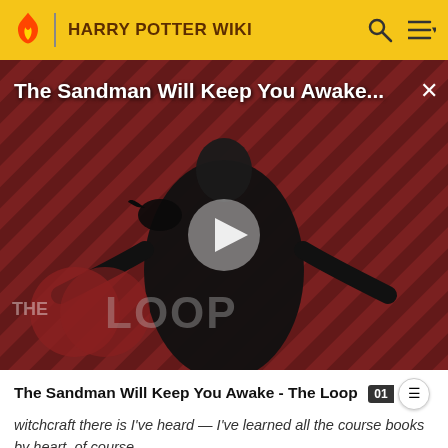HARRY POTTER WIKI
[Figure (screenshot): Video thumbnail for 'The Sandman Will Keep You Awake - The Loop' showing a figure in black robes with a raven, diagonal striped red and dark background, The Loop logo watermark, play button overlay]
The Sandman Will Keep You Awake - The Loop
witchcraft there is I've heard — I've learned all the course books by heart, of course.